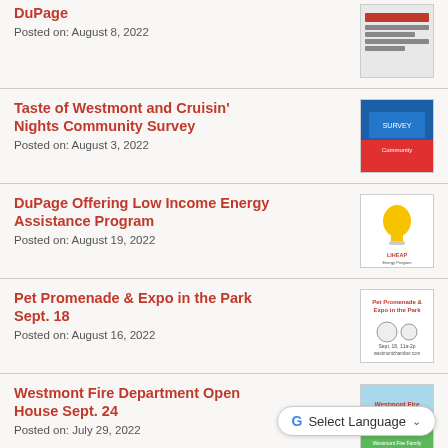DuPage
Posted on: August 8, 2022
Taste of Westmont and Cruisin' Nights Community Survey
Posted on: August 3, 2022
DuPage Offering Low Income Energy Assistance Program
Posted on: August 19, 2022
Pet Promenade & Expo in the Park Sept. 18
Posted on: August 16, 2022
Westmont Fire Department Open House Sept. 24
Posted on: July 29, 2022
Paper Shred Event for Special Olympics Oct. 1